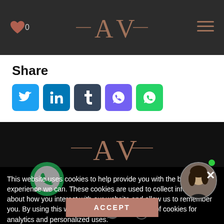AX logo header with heart icon (0) and hamburger menu
Share
[Figure (infographic): Social share buttons: Twitter, LinkedIn, Tumblr, Viber, WhatsApp]
[Figure (logo): AX brand logo in footer dark area]
This website uses cookies to help provide you with the best experience we can. These cookies are used to collect information about how you interact with our website and allow us to remember you. By using this website you agree to the use of cookies for analytics and personalized uses.
[Figure (photo): Avatar photo of a woman in a circular frame with green dot]
ACCEPT